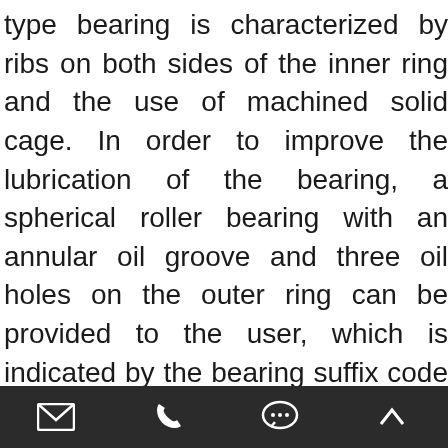type bearing is characterized by ribs on both sides of the inner ring and the use of machined solid cage. In order to improve the lubrication of the bearing, a spherical roller bearing with an annular oil groove and three oil holes on the outer ring can be provided to the user, which is indicated by the bearing suffix code /W33. According to user requirements, spherical roller bearings with inner ring oil holes can also be supplied. In order to facilitate the installation and replacement of bearings by customers, spherical roller bearings with taper bore can also be provided. The taper bore's taper is 1:12, and the suffix code is K. In order to meet the requirements of
[toolbar with mail, phone, chat, up-arrow icons]